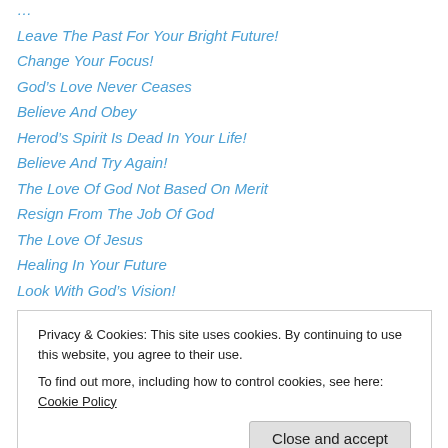Leave The Past For Your Bright Future!
Change Your Focus!
God's Love Never Ceases
Believe And Obey
Herod's Spirit Is Dead In Your Life!
Believe And Try Again!
The Love Of God Not Based On Merit
Resign From The Job Of God
The Love Of Jesus
Healing In Your Future
Look With God's Vision!
Blessings Follow Obedience To God
How You Do You Think?
Privacy & Cookies: This site uses cookies. By continuing to use this website, you agree to their use.
To find out more, including how to control cookies, see here: Cookie Policy
Learning Love